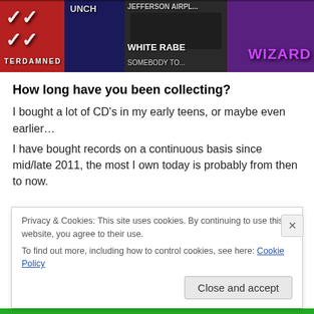[Figure (photo): Banner photo showing a collection of vintage vinyl record covers and concert posters including text fragments: TERDAMNED, WHITE RABE(it), SOMEBODY TO..., UNCH, JEFFERSON AIRPL(ane), and a purple WIZARD text]
How long have you been collecting?
I bought a lot of CD's in my early teens, or maybe even earlier…
I have bought records on a continuous basis since mid/late 2011, the most I own today is probably from then to now.
Privacy & Cookies: This site uses cookies. By continuing to use this website, you agree to their use.
To find out more, including how to control cookies, see here: Cookie Policy
Close and accept